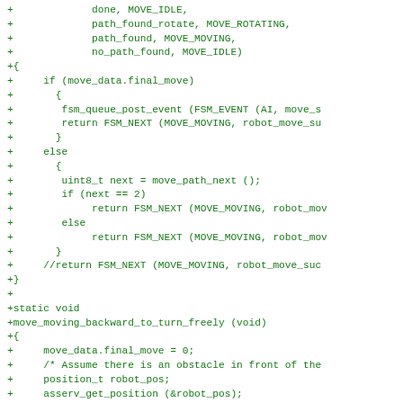[Figure (other): Source code diff showing C code additions for robot movement FSM (finite state machine) logic including move_moving_backward_to_turn_freely function]